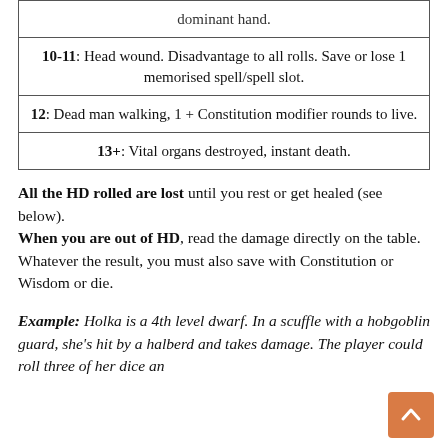| dominant hand. |
| 10-11: Head wound. Disadvantage to all rolls. Save or lose 1 memorised spell/spell slot. |
| 12: Dead man walking, 1 + Constitution modifier rounds to live. |
| 13+: Vital organs destroyed, instant death. |
All the HD rolled are lost until you rest or get healed (see below). When you are out of HD, read the damage directly on the table. Whatever the result, you must also save with Constitution or Wisdom or die.
Example: Holka is a 4th level dwarf. In a scuffle with a hobgoblin guard, she's hit by a halberd and takes damage. The player could roll three of her dice and